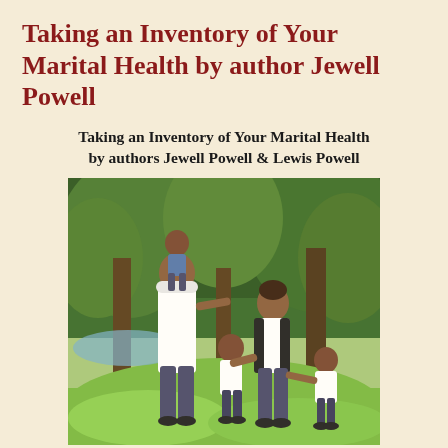Taking an Inventory of Your Marital Health by author Jewell Powell
Taking an Inventory of Your Marital Health by authors Jewell Powell & Lewis Powell
[Figure (photo): A happy African-American family of five walking outdoors in a park. A father carries a toddler on his shoulders, a mother holds hands with two young children, surrounded by green trees and grass.]